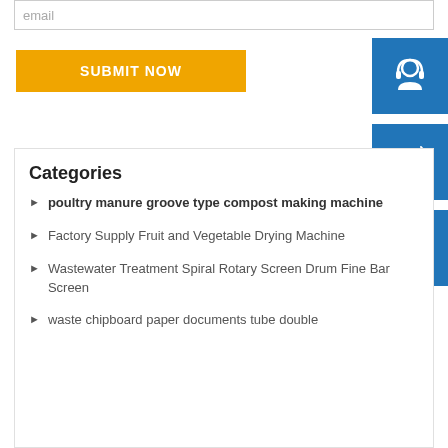email
SUBMIT NOW
[Figure (illustration): Blue square icon with white headset/customer support symbol]
[Figure (illustration): Blue square icon with white telephone/phone symbol]
[Figure (illustration): Blue square icon with white Skype logo symbol]
Categories
poultry manure groove type compost making machine
Factory Supply Fruit and Vegetable Drying Machine
Wastewater Treatment Spiral Rotary Screen Drum Fine Bar Screen
waste chipboard paper documents tube double